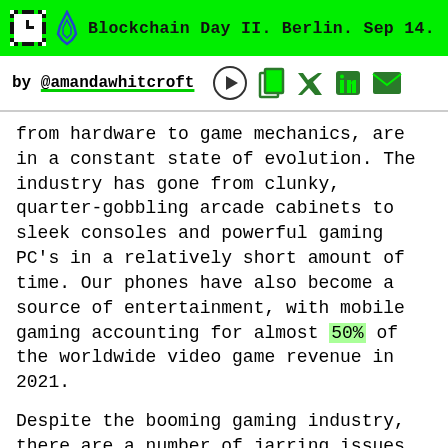Blockchain Day II. Berlin. Sep 14.
by @amandawhitcroft
from hardware to game mechanics, are in a constant state of evolution. The industry has gone from clunky, quarter-gobbling arcade cabinets to sleek consoles and powerful gaming PC’s in a relatively short amount of time. Our phones have also become a source of entertainment, with mobile gaming accounting for almost 50% of the worldwide video game revenue in 2021.
Despite the booming gaming industry, there are a number of jarring issues causing loyal fans to push against “innovations” by AAA developers. Some of the